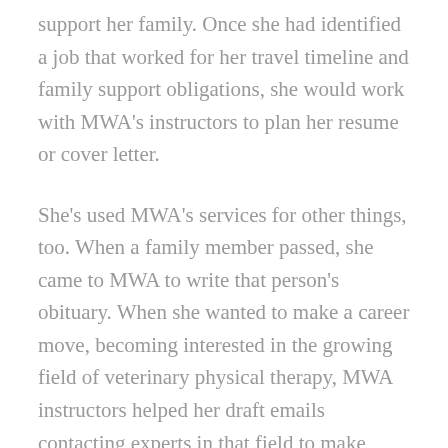support her family. Once she had identified a job that worked for her travel timeline and family support obligations, she would work with MWA's instructors to plan her resume or cover letter.
She's used MWA's services for other things, too. When a family member passed, she came to MWA to write that person's obituary. When she wanted to make a career move, becoming interested in the growing field of veterinary physical therapy, MWA instructors helped her draft emails contacting experts in that field to make inquiries, learn about the field, and ask about opportunities for job shadowing.
I ask her what kept her coming back to MWA over time. "I can get stuck on things," she says, "so if there's a paragraph that I don't like, then I can probably spend way too long